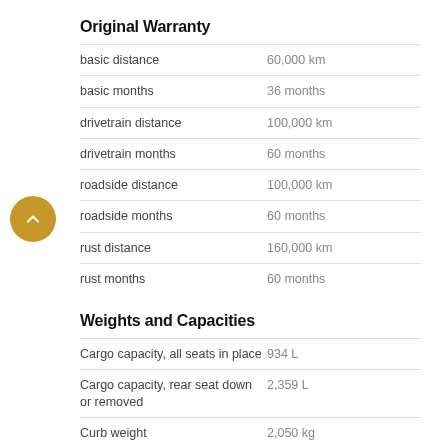Original Warranty
|  |  |
| --- | --- |
| basic distance | 60,000 km |
| basic months | 36 months |
| drivetrain distance | 100,000 km |
| drivetrain months | 60 months |
| roadside distance | 100,000 km |
| roadside months | 60 months |
| rust distance | 160,000 km |
| rust months | 60 months |
Weights and Capacities
|  |  |
| --- | --- |
| Cargo capacity, all seats in place | 934 L |
| Cargo capacity, rear seat down or removed | 2,359 L |
| Curb weight | 2,050 kg |
| EPA interior volume | 4,420 L |
| Fuel Capacity | 76 L |
| Gross vehicle weight | 2,744 kg |